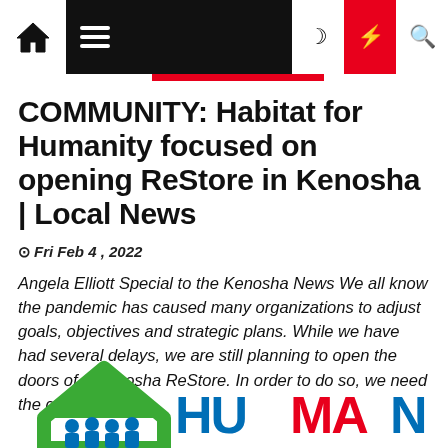Navigation bar with home, menu, moon, bolt, and search icons
COMMUNITY: Habitat for Humanity focused on opening ReStore in Kenosha | Local News
Fri Feb 4 , 2022
Angela Elliott Special to the Kenosha News We all know the pandemic has caused many organizations to adjust goals, objectives and strategic plans. While we have had several delays, we are still planning to open the doors of a Kenosha ReStore. In order to do so, we need the collective […]
[Figure (logo): Habitat for Humanity logo — green house outline with colorful figures inside]